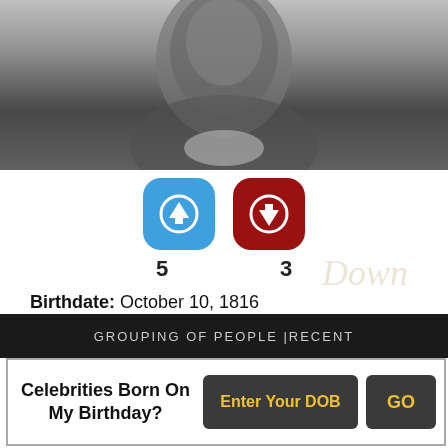[Figure (photo): Black and white portrait photograph of an older man, cropped to show head and upper chest, wearing dark clothing with a white collar.]
[Figure (infographic): Two voting buttons: a blue rounded square with an upward arrow (score: 5) and a dark red rounded square with a downward arrow (score: 3).]
Birthdate: October 10, 1816
Sun Sign: Libra
Birthplace: London, England
Died: July 23, 1904
GROUPING OF PEOPLE |RECENT
Celebrities Born On My Birthday?  Enter Your DOB  GO